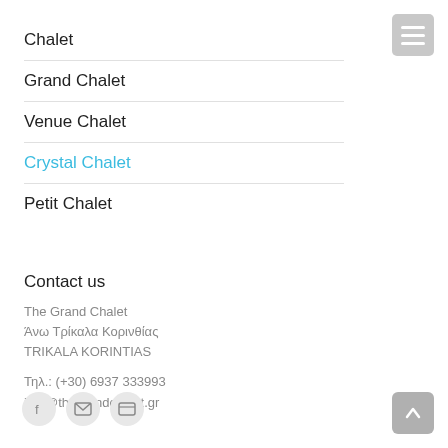Chalet
Grand Chalet
Venue Chalet
Crystal Chalet
Petit Chalet
Contact us
The Grand Chalet
Άνω Τρίκαλα Κορινθίας
TRIKALA KORINTIAS
Τηλ.: (+30) 6937 333993
info@thegrandchalet.gr
[Figure (other): Social media icons: Facebook, email/envelope, browser/window]